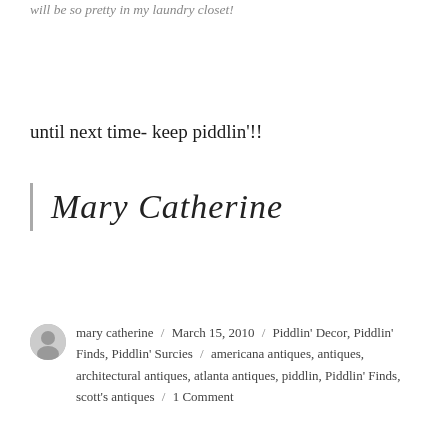will be so pretty in my laundry closet!
until next time- keep piddlin'!!
[Figure (illustration): Handwritten cursive signature reading 'Mary Catherine' with a vertical bar to the left]
mary catherine / March 15, 2010 / Piddlin' Decor, Piddlin' Finds, Piddlin' Surcies / americana antiques, antiques, architectural antiques, atlanta antiques, piddlin, Piddlin' Finds, scott's antiques / 1 Comment